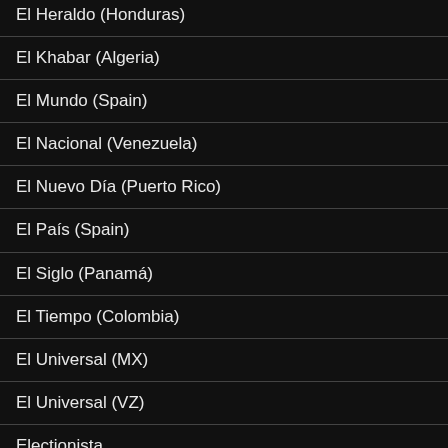El Heraldo (Honduras)
El Khabar (Algeria)
El Mundo (Spain)
El Nacional (Venezuela)
El Nuevo Día (Puerto Rico)
El País (Spain)
El Siglo (Panamá)
El Tiempo (Colombia)
El Universal (MX)
El Universal (VZ)
Electionista
Electoral Geography
EU Observer